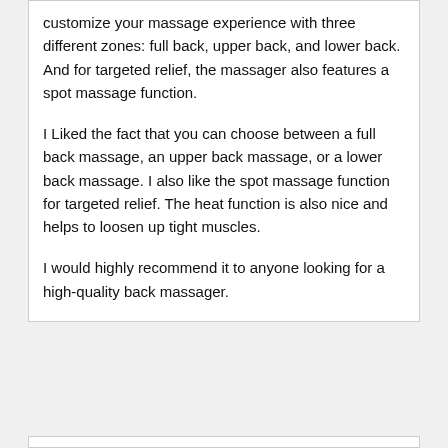customize your massage experience with three different zones: full back, upper back, and lower back. And for targeted relief, the massager also features a spot massage function.
I Liked the fact that you can choose between a full back massage, an upper back massage, or a lower back massage. I also like the spot massage function for targeted relief. The heat function is also nice and helps to loosen up tight muscles.
I would highly recommend it to anyone looking for a high-quality back massager.